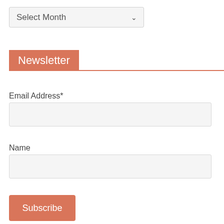[Figure (screenshot): Select Month dropdown widget]
Newsletter
Email Address*
[Figure (screenshot): Email Address input field]
Name
[Figure (screenshot): Name input field]
[Figure (screenshot): Subscribe button]
[Figure (logo): Partial logo at bottom left]